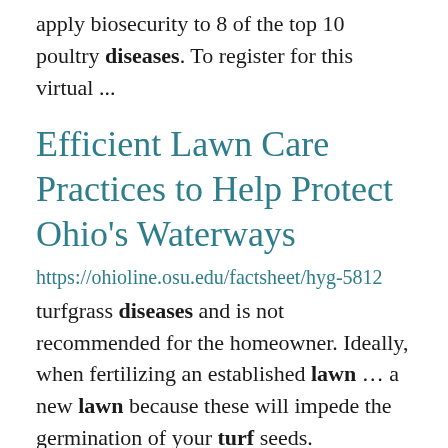apply biosecurity to 8 of the top 10 poultry diseases. To register for this virtual ...
Efficient Lawn Care Practices to Help Protect Ohio's Waterways
https://ohioline.osu.edu/factsheet/hyg-5812
turfgrass diseases and is not recommended for the homeowner. Ideally, when fertilizing an established lawn ... a new lawn because these will impede the germination of your turf seeds. Mesotrione is the exception ... including agriculture fertilizer, lawn fertilizer, wastewater plants, sewage overflows, and faulty